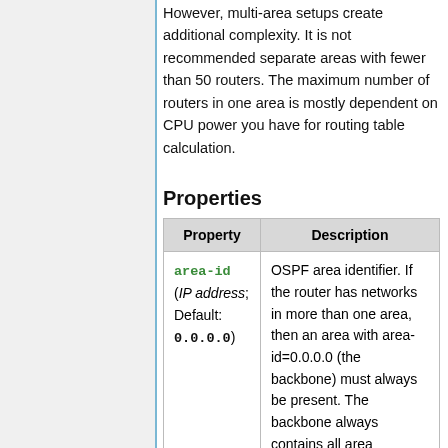However, multi-area setups create additional complexity. It is not recommended separate areas with fewer than 50 routers. The maximum number of routers in one area is mostly dependent on CPU power you have for routing table calculation.
Properties
| Property | Description |
| --- | --- |
| area-id (IP address; Default: 0.0.0.0) | OSPF area identifier. If the router has networks in more than one area, then an area with area-id=0.0.0.0 (the backbone) must always be present. The backbone always contains all area |